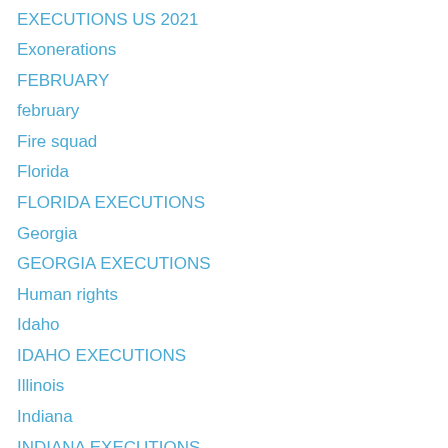EXECUTIONS US 2021
Exonerations
FEBRUARY
february
Fire squad
Florida
FLORIDA EXECUTIONS
Georgia
GEORGIA EXECUTIONS
Human rights
Idaho
IDAHO EXECUTIONS
Illinois
Indiana
INDIANA EXECUTIONS
Inmates Interviews
Inmates on the death row
Iowa
JANUARY
JULY